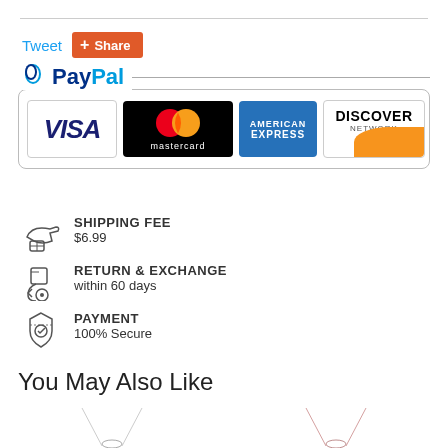[Figure (infographic): Tweet and Share social buttons]
[Figure (infographic): PayPal logo with payment card logos: Visa, Mastercard, American Express, Discover]
SHIPPING FEE
$6.99
RETURN & EXCHANGE
within 60 days
PAYMENT
100% Secure
You May Also Like
[Figure (photo): Two necklace product images at the bottom]